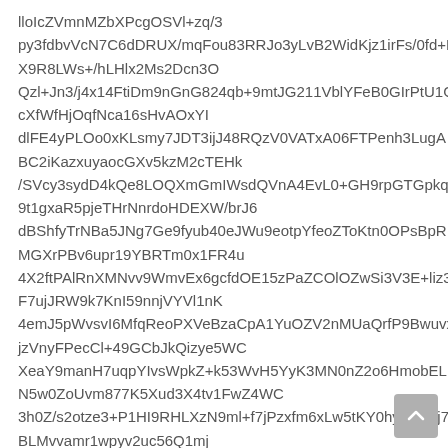lloIcZVmnMZbXPcgOSVl+zq/3 py3fdbvVcN7C6dDRUX/mqFou83RRJo3yLvB2WidKjz1irFs/0fd+L X9R8LWs+/hLHlx2Ms2Dcn3O Qzl+Jn3/j4x14FtiDm9nGnG824qb+9mtJG211VblYFeB0GIrPtU1G cXfWfHjOqfNca16sHvAOxYI dlFE4yPLOo0xKLsmy7JDT3ijJ48RQzV0VATxA06FTPenh3LugA BC2iKazxuyaocGXv5kzM2cTEHk /SVcy3sydD4kQe8LOQXmGmIWsdQVnA4EvL0+GH9rpGTGpkq 9t1gxaR5pjeTHrNnrdoHDEXW/brJ6 dBShfyTrNBa5JNg7Ge9fyub40eJWu9eotpYfeoZToKtn0OPsBpR MGXrPBv6upr19YBRTm0x1FR4u 4X2ftPAlRnXMNvv9WmvEx6gcfdOE15zPaZCOlOZwSi3V3E+liz3 F7ujJRW9k7KnI59nnjVYVl1nK 4emJ5pWvsvI6MfqReoPXVeBzaCpA1YuOZV2nMUaQrfP9Bwuvx jzVnyFPecCl+49GCbJkQizye5WC XeaY9manH7uqpYIvsWpkZ+k53WvH5YyK3MN0nZ2o6HmobEL N5w0ZoUvm877K5Xud3X4tv1FwZ4WC 3h0Z/s2otze3+P1HI9RHLXzN9ml+f7jPzxfm6xLw5tKY0hys/X5yj7 BLMvvamr1wpyv2uc56Q1mj